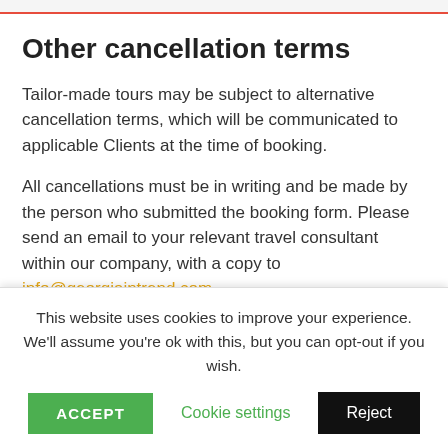Other cancellation terms
Tailor-made tours may be subject to alternative cancellation terms, which will be communicated to applicable Clients at the time of booking.
All cancellations must be in writing and be made by the person who submitted the booking form. Please send an email to your relevant travel consultant within our company, with a copy to info@georgiaintrend.com
Once the tour has started, no refund for any unused portion or part of the tour or services to be provided
This website uses cookies to improve your experience. We'll assume you're ok with this, but you can opt-out if you wish.